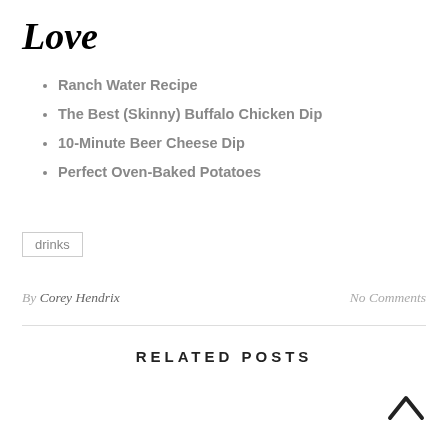Love
Ranch Water Recipe
The Best (Skinny) Buffalo Chicken Dip
10-Minute Beer Cheese Dip
Perfect Oven-Baked Potatoes
drinks
By Corey Hendrix
No Comments
RELATED POSTS